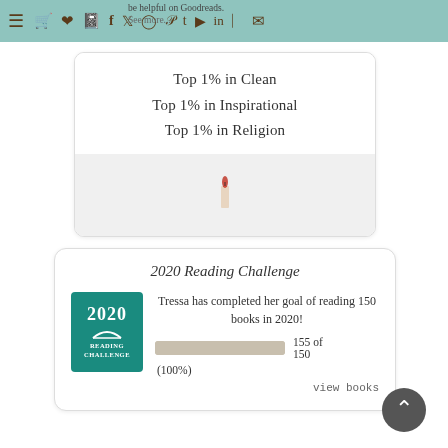be helpful on Goodreads. See more...
Top 1% in Clean
Top 1% in Inspirational
Top 1% in Religion
[Figure (illustration): Small red candle icon on grey background]
2020 Reading Challenge
[Figure (logo): 2020 Reading Challenge badge — teal square with '2020' text, open book icon, and 'READING CHALLENGE' label in white]
Tressa has completed her goal of reading 150 books in 2020!
[Figure (other): Progress bar showing 100% completion, fully filled]
155 of 150
(100%)
view books